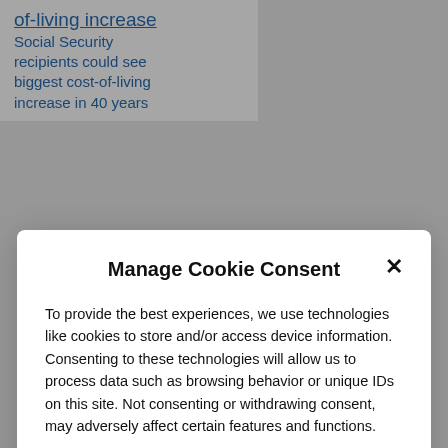of-living increase Social Security recipients could see biggest cost-of-living increase in 40 years
Manage Cookie Consent
To provide the best experiences, we use technologies like cookies to store and/or access device information. Consenting to these technologies will allow us to process data such as browsing behavior or unique IDs on this site. Not consenting or withdrawing consent, may adversely affect certain features and functions.
Accept
Deny
View preferences